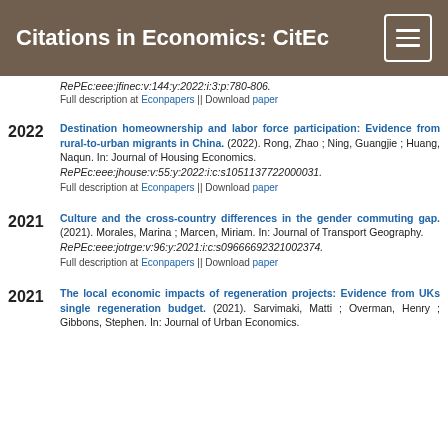Citations in Economics: CitEc
RePEc:eee:jfinec:v:144:y:2022:i:3:p:780-806.
Full description at Econpapers || Download paper
2022 — Destination homeownership and labor force participation: Evidence from rural-to-urban migrants in China. (2022). Rong, Zhao ; Ning, Guangjie ; Huang, Naqun. In: Journal of Housing Economics. RePEc:eee:jhouse:v:55:y:2022:i:c:s1051137722000031. Full description at Econpapers || Download paper
2021 — Culture and the cross-country differences in the gender commuting gap. (2021). Morales, Marina ; Marcen, Miriam. In: Journal of Transport Geography. RePEc:eee:jotrge:v:96:y:2021:i:c:s09666692321002374. Full description at Econpapers || Download paper
2021 — The local economic impacts of regeneration projects: Evidence from UKs single regeneration budget. (2021). Sarvimaki, Matti ; Overman, Henry ; Gibbons, Stephen. In: Journal of Urban Economics.